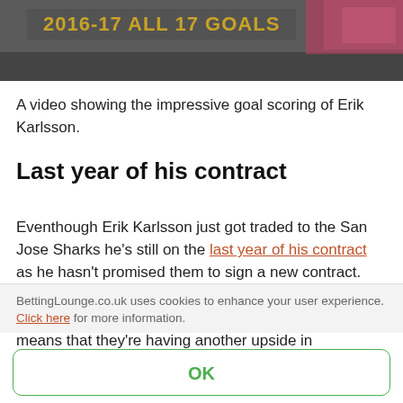[Figure (screenshot): Thumbnail image with dark background and text overlay reading '2016-17 ALL 17 GOALS' in gold/yellow bold uppercase letters]
A video showing the impressive goal scoring of Erik Karlsson.
Last year of his contract
Eventhough Erik Karlsson just got traded to the San Jose Sharks he's still on the last year of his contract as he hasn't promised them to sign a new contract. Players on their last year on their contracts is usually performing better than they otherwise would, it just means that they're having another upside in performing well. Erik Karlsson could probably sign a
BettingLounge.co.uk uses cookies to enhance your user experience. Click here for more information.
OK